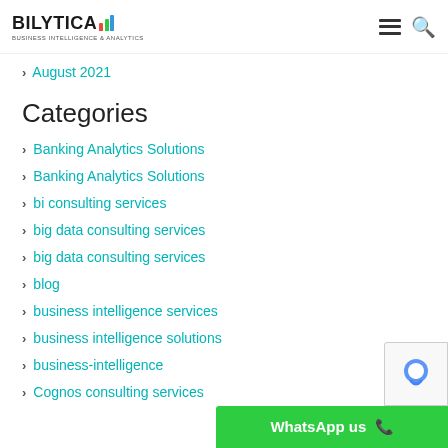BILYTICA — Business Intelligence & Analytics
August 2021
Categories
Banking Analytics Solutions
Banking Analytics Solutions
bi consulting services
big data consulting services
big data consulting services
blog
business intelligence services
business intelligence solutions
business-intelligence
Cognos consulting services